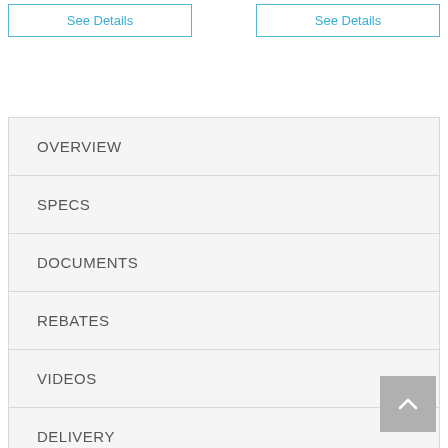See Details
See Details
OVERVIEW
SPECS
DOCUMENTS
REBATES
VIDEOS
DELIVERY
WARRANTY